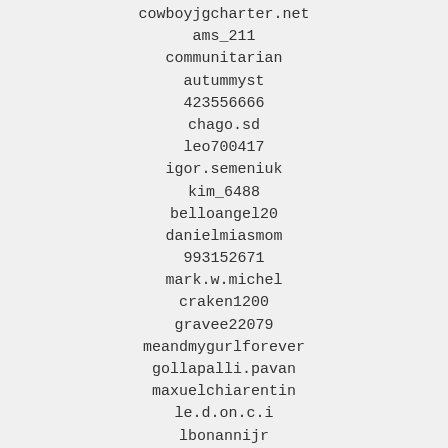cowboyjgcharter.net
ams_211
communitarian
autummyst
423556666
chago.sd
leo700417
igor.semeniuk
kim_6488
belloangel20
danielmiasmom
993152671
mark.w.michel
craken1200
gravee22079
meandmygurlforever
gollapalli.pavan
maxuelchiarentin
le.d.on.c.i
lbonannijr
itrlkon1969
lina_luo84
milan81dr
cat.d2012